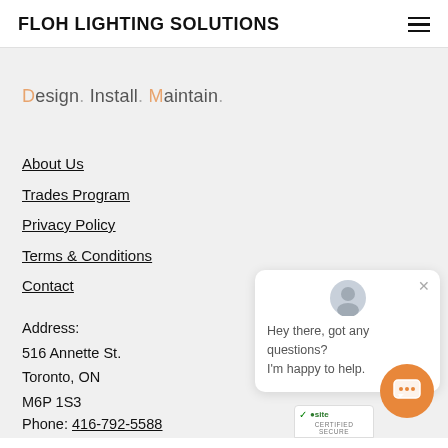FLOH LIGHTING SOLUTIONS
Design. Install. Maintain.
About Us
Trades Program
Privacy Policy
Terms & Conditions
Contact
Address:
516 Annette St.
Toronto, ON
M6P 1S3
Phone: 416-792-5588
[Figure (screenshot): Chat widget popup with avatar icon, close button, and message: Hey there, got any questions? I'm happy to help.]
[Figure (logo): TrustSite certified secure badge with green checkmark]